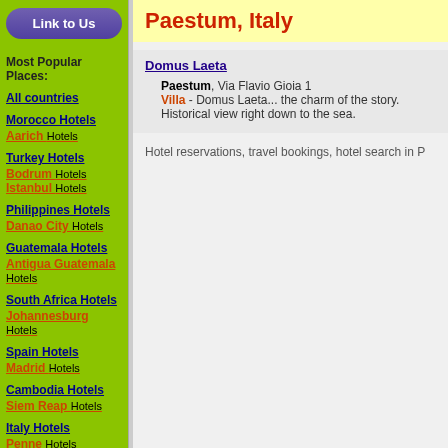Link to Us
Most Popular Places:
All countries
Morocco Hotels
Aarich Hotels
Turkey Hotels
Bodrum Hotels
Istanbul Hotels
Philippines Hotels
Danao City Hotels
Guatemala Hotels
Antigua Guatemala Hotels
South Africa Hotels
Johannesburg Hotels
Spain Hotels
Madrid Hotels
Cambodia Hotels
Siem Reap Hotels
Italy Hotels
Penne Hotels
Napoli Hotels
Paestum, Italy
Domus Laeta
Paestum, Via Flavio Gioia 1
Villa - Domus Laeta... the charm of the story. Historical view right down to the sea.
Hotel reservations, travel bookings, hotel search in P...